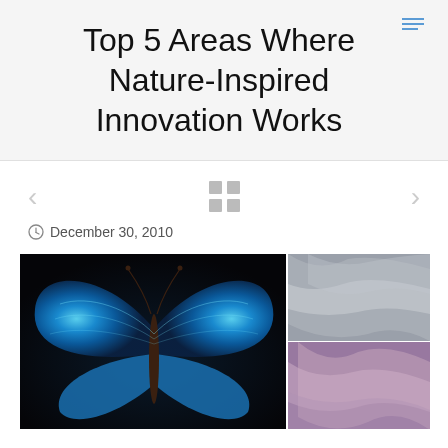Top 5 Areas Where Nature-Inspired Innovation Works
December 30, 2010
[Figure (photo): Composite image showing a vivid blue Morpho butterfly on the left, and two close-up fabric/material texture photos on the right (top: gray fabric, bottom: purple/blue iridescent fabric)]